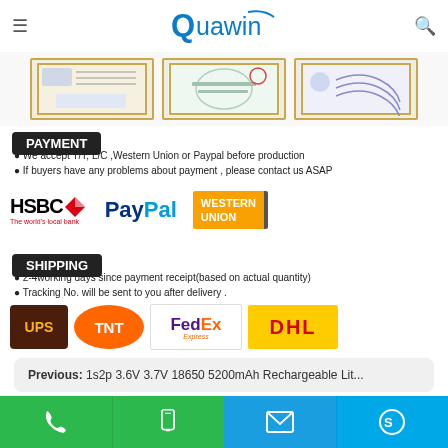Quawin
[Figure (photo): Three framed certificates/documents shown in a row]
PAYMENT
We accept T/T, L/C ,Western Union or Paypal before production
If buyers have any problems about payment , please contact us ASAP
[Figure (logo): HSBC, PayPal, and Western Union payment logos]
SHIPPING
2-4working days since payment receipt(based on actual quantity)
Tracking No. will be sent to you after delivery .
[Figure (logo): UPS, TNT, FedEx Express, DHL shipping carrier logos]
Previous:  1s2p 3.6V 3.7V 18650 5200mAh Rechargeable Lit...
Next:  1s3p 3.6V 3.7V 18650 10200mAh 10.2ah Rechargeabl...
[Figure (infographic): Bottom navigation bar with phone, mobile, email, and Skype icons on green and blue backgrounds]